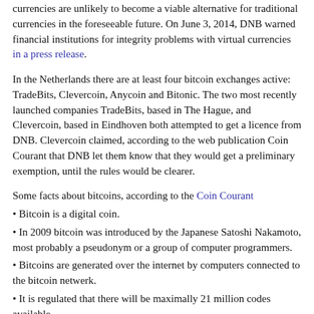currencies are unlikely to become a viable alternative for traditional currencies in the foreseeable future. On June 3, 2014, DNB warned financial institutions for integrity problems with virtual currencies in a press release.
In the Netherlands there are at least four bitcoin exchanges active: TradeBits, Clevercoin, Anycoin and Bitonic. The two most recently launched companies TradeBits, based in The Hague, and Clevercoin, based in Eindhoven both attempted to get a licence from DNB. Clevercoin claimed, according to the web publication Coin Courant that DNB let them know that they would get a preliminary exemption, until the rules would be clearer.
Some facts about bitcoins, according to the Coin Courant
Bitcoin is a digital coin.
In 2009 bitcoin was introduced by the Japanese Satoshi Nakamoto, most probably a pseudonym or a group of computer programmers.
Bitcoins are generated over the internet by computers connected to the bitcoin netwerk.
It is regulated that there will be maximally 21 million codes available.